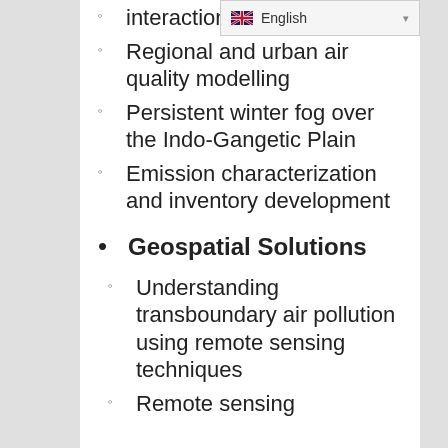interactions
Regional and urban air quality modelling
Persistent winter fog over the Indo-Gangetic Plain
Emission characterization and inventory development
Geospatial Solutions
Understanding transboundary air pollution using remote sensing techniques
Remote sensing